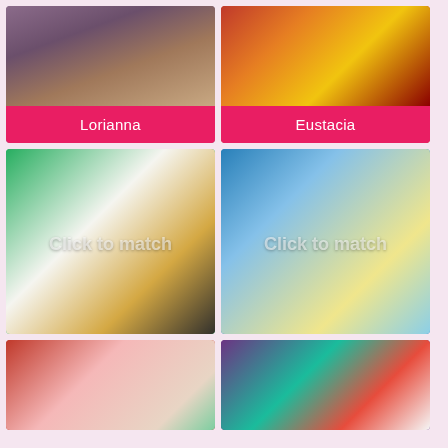[Figure (photo): Profile card photo for Lorianna]
Lorianna
[Figure (photo): Profile card photo for Eustacia]
Eustacia
[Figure (photo): Profile card photo for Rita with watermark 'Click to match']
Rita
[Figure (photo): Profile card photo for Sherry with watermark 'Click to match']
Sherry
[Figure (photo): Partial profile card at bottom left]
[Figure (photo): Partial profile card at bottom right]